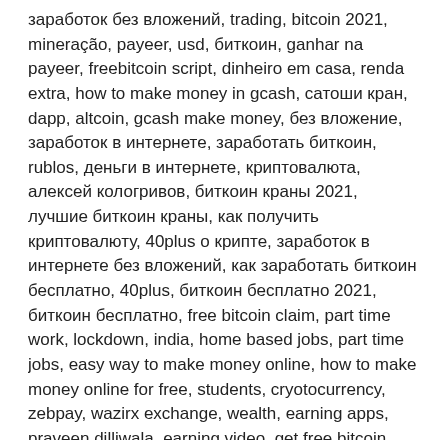заработок без вложений, trading, bitcoin 2021, mineração, payeer, usd, биткоин, ganhar na payeer, freebitcoin script, dinheiro em casa, renda extra, how to make money in gcash, сатоши кран, dapp, altcoin, gcash make money, без вложение, заработок в интернете, заработать биткоин, rublos, деньги в интернете, криптовалюта, алексей кологривов, биткоин краны 2021, лучшие биткоин краны, как получить криптовалюту, 40plus о крипте, заработок в интернете без вложений, как заработать биткоин бесплатно, 40plus, биткоин бесплатно 2021, биткоин бесплатно, free bitcoin claim, part time work, lockdown, india, home based jobs, part time jobs, easy way to make money online, how to make money online for free, students, cryotocurrency, zebpay, wazirx exchange, wealth, earning apps, praveen dilliwala, earning video, get free bitcoin automatically, make money automatically, btc mining thailand, mining hardware, bitcoin mining china, bitcoin mining philippines, how to make money with bitcoin, bitcoin mining website, best btc mining site, bitcoin today, alex hyuen, free btc generator, get free btc, free btc mining bot, free btc mining script, online earning, cloud mining, mine 1 bitcoin in 45 minutes - free bitcoin mining website 2021 | payment proof, btc kaise earn karen, sai nithin tech, sai nithin earn money, i'm earning 1000 every hour, smart telugu trader, earn money online in telugu, free litecoin, cryptocurrency malayalam, earn unlimited free bitcoin everyday with this app, how to earn money online in telugu, how to